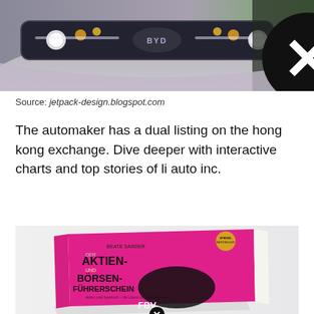[Figure (photo): Close-up of a BYD car front grille with decorative lights, and a person partially visible on the right side]
Source: jetpack-design.blogspot.com
The automaker has a dual listing on the hong kong exchange. Dive deeper with interactive charts and top stories of li auto inc.
[Figure (photo): A pink book titled 'Der Aktien- und Börsenfuhrerschein' by Beate Sander, published by FBV, lying on a white surface]